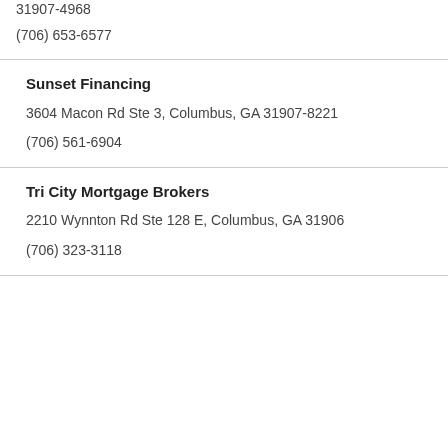31907-4968
(706) 653-6577
Sunset Financing
3604 Macon Rd Ste 3, Columbus, GA 31907-8221
(706) 561-6904
Tri City Mortgage Brokers
2210 Wynnton Rd Ste 128 E, Columbus, GA 31906
(706) 323-3118